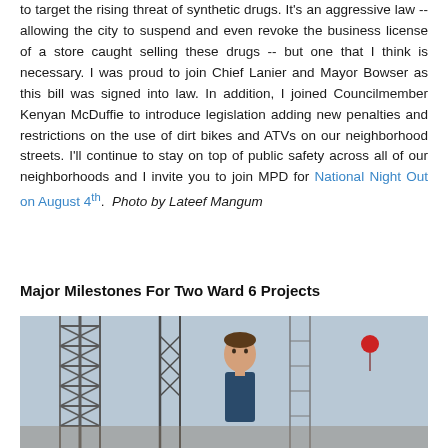to target the rising threat of synthetic drugs. It's an aggressive law -- allowing the city to suspend and even revoke the business license of a store caught selling these drugs -- but one that I think is necessary. I was proud to join Chief Lanier and Mayor Bowser as this bill was signed into law. In addition, I joined Councilmember Kenyan McDuffie to introduce legislation adding new penalties and restrictions on the use of dirt bikes and ATVs on our neighborhood streets. I'll continue to stay on top of public safety across all of our neighborhoods and I invite you to join MPD for National Night Out on August 4th. Photo by Lateef Mangum
Major Milestones For Two Ward 6 Projects
[Figure (photo): Photo of a person standing in front of construction cranes and scaffolding at a building site. A red balloon or marker is visible in the upper right area of the image.]